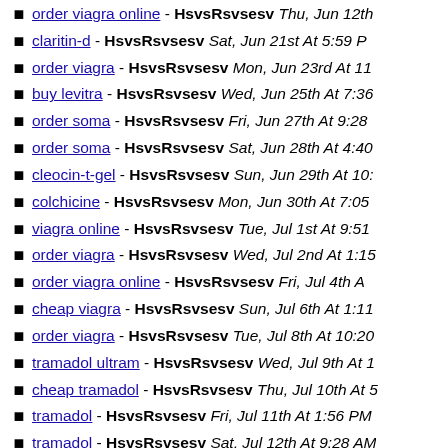order viagra online - HsvsRsvsesv Thu, Jun 12th
claritin-d - HsvsRsvsesv Sat, Jun 21st At 5:59 PM
order viagra - HsvsRsvsesv Mon, Jun 23rd At 11
buy levitra - HsvsRsvsesv Wed, Jun 25th At 7:36
order soma - HsvsRsvsesv Fri, Jun 27th At 9:28
order soma - HsvsRsvsesv Sat, Jun 28th At 4:40
cleocin-t-gel - HsvsRsvsesv Sun, Jun 29th At 10:
colchicine - HsvsRsvsesv Mon, Jun 30th At 7:05
viagra online - HsvsRsvsesv Tue, Jul 1st At 9:51
order viagra - HsvsRsvsesv Wed, Jul 2nd At 1:15
order viagra online - HsvsRsvsesv Fri, Jul 4th A
cheap viagra - HsvsRsvsesv Sun, Jul 6th At 1:11
order viagra - HsvsRsvsesv Tue, Jul 8th At 10:20
tramadol ultram - HsvsRsvsesv Wed, Jul 9th At 1
cheap tramadol - HsvsRsvsesv Thu, Jul 10th At 5
tramadol - HsvsRsvsesv Fri, Jul 11th At 1:56 PM
tramadol - HsvsRsvsesv Sat, Jul 12th At 9:28 AM
tramadol ultram - HsvsRsvsesv Sun, Jul 13th At
buy viagra online - HsvsRsvsesv Tue, Jul 15th A
buy valium online - HsvsRsvsesv Thu, Jul 17th A
buy cialis online - HsvsRsvsesv Fri, Jul 18th At
order tramadol - HsvsRsvsesv Sat, Jul 19th At 7:
cheap tramadol - HsvsRsvsesv Sun, Jul 20th At 6
order soma - HsvsRsvsesv Mon, Jul 21st At 8:02
buy soma online - HsvsRsvsesv Mon, Jul 21st A